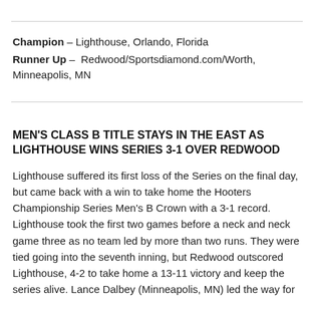Champion – Lighthouse, Orlando, Florida
Runner Up – Redwood/Sportsdiamond.com/Worth, Minneapolis, MN
MEN'S CLASS B TITLE STAYS IN THE EAST AS LIGHTHOUSE WINS SERIES 3-1 OVER REDWOOD
Lighthouse suffered its first loss of the Series on the final day, but came back with a win to take home the Hooters Championship Series Men's B Crown with a 3-1 record. Lighthouse took the first two games before a neck and neck game three as no team led by more than two runs. They were tied going into the seventh inning, but Redwood outscored Lighthouse, 4-2 to take home a 13-11 victory and keep the series alive. Lance Dalbey (Minneapolis, MN) led the way for